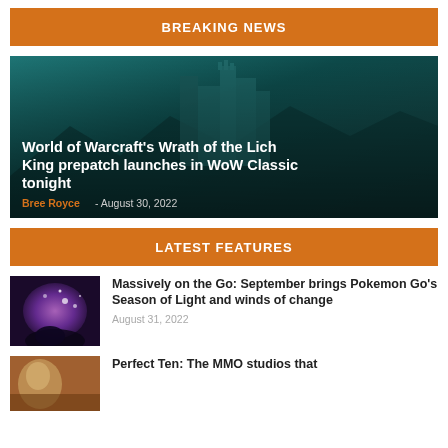BREAKING NEWS
[Figure (photo): Fantasy castle/tower in teal-tinted icy landscape with the headline overlay for World of Warcraft's Wrath of the Lich King prepatch story]
World of Warcraft's Wrath of the Lich King prepatch launches in WoW Classic tonight
Bree Royce - August 30, 2022
LATEST FEATURES
[Figure (photo): Pokemon Go Season of Light thumbnail showing sparkly purple/blue light effects]
Massively on the Go: September brings Pokemon Go's Season of Light and winds of change
August 31, 2022
[Figure (photo): MMO studios thumbnail with partial image visible]
Perfect Ten: The MMO studios that